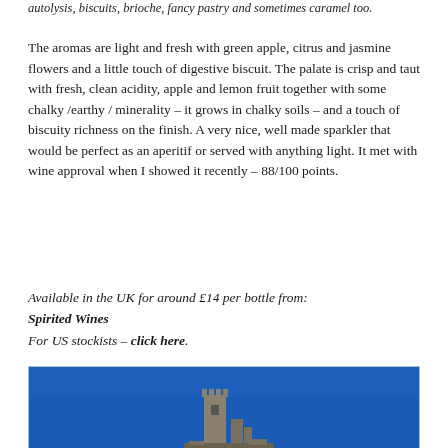autolysis, biscuits, brioche, fancy pastry and sometimes caramel too.
The aromas are light and fresh with green apple, citrus and jasmine flowers and a little touch of digestive biscuit. The palate is crisp and taut with fresh, clean acidity, apple and lemon fruit together with some chalky /earthy / minerality – it grows in chalky soils – and a touch of biscuity richness on the finish. A very nice, well made sparkler that would be perfect as an aperitif or served with anything light. It met with wine approval when I showed it recently – 88/100 points.
Available in the UK for around £14 per bottle from:
Spirited Wines
For US stockists – click here.
[Figure (photo): Photograph with bright blue sky background showing the bottom portion of a stone ruin or castle tower and smaller stone structures at the base.]